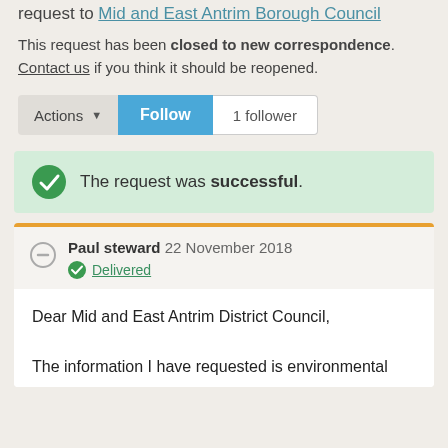request to Mid and East Antrim Borough Council
This request has been closed to new correspondence. Contact us if you think it should be reopened.
Actions ▾  Follow  1 follower
The request was successful.
Paul steward 22 November 2018 Delivered
Dear Mid and East Antrim District Council,

The information I have requested is environmental